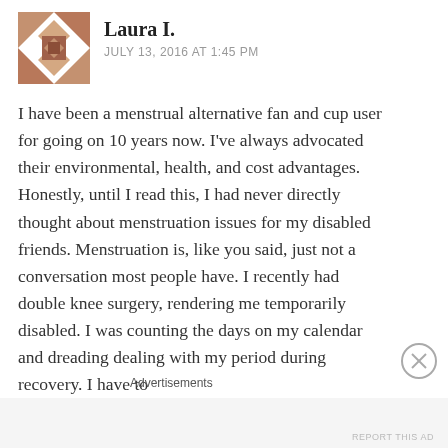[Figure (illustration): Brown geometric quilt-pattern avatar icon for user Laura I.]
Laura I.
JULY 13, 2016 AT 1:45 PM
I have been a menstrual alternative fan and cup user for going on 10 years now. I've always advocated their environmental, health, and cost advantages. Honestly, until I read this, I had never directly thought about menstruation issues for my disabled friends. Menstruation is, like you said, just not a conversation most people have. I recently had double knee surgery, rendering me temporarily disabled. I was counting the days on my calendar and dreading dealing with my period during recovery. I have to
Advertisements